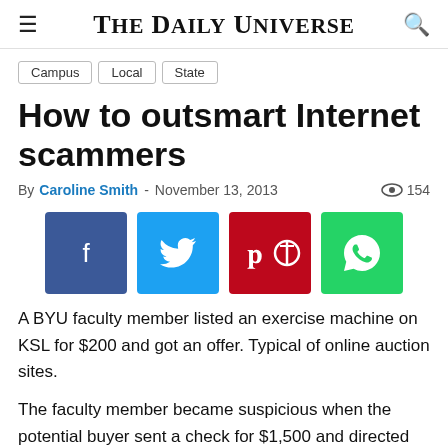The Daily Universe
Campus
Local
State
How to outsmart Internet scammers
By Caroline Smith - November 13, 2013  154
[Figure (other): Social sharing buttons: Facebook, Twitter, Pinterest, WhatsApp]
A BYU faculty member listed an exercise machine on KSL for $200 and got an offer. Typical of online auction sites.
The faculty member became suspicious when the potential buyer sent a check for $1,500 and directed the faculty member to deliver the machine and the extra cash to his representative,